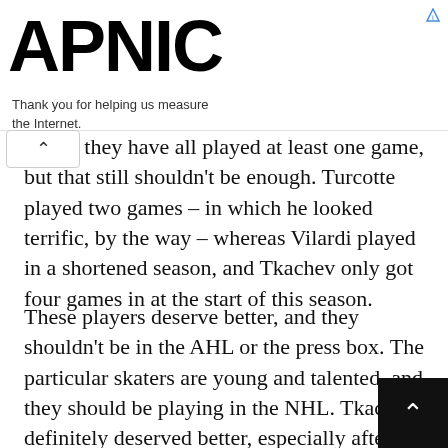APNIC — Thank you for helping us measure the Internet.
f now, they have all played at least one game, but that still shouldn't be enough. Turcotte played two games – in which he looked terrific, by the way – whereas Vilardi played in a shortened season, and Tkachev only got four games in at the start of this season.
These players deserve better, and they shouldn't be in the AHL or the press box. The particular skaters are young and talented, and they should be playing in the NHL. Tkachev definitely deserved better, especially after a limited sample size. As of now, Tkachev has 18